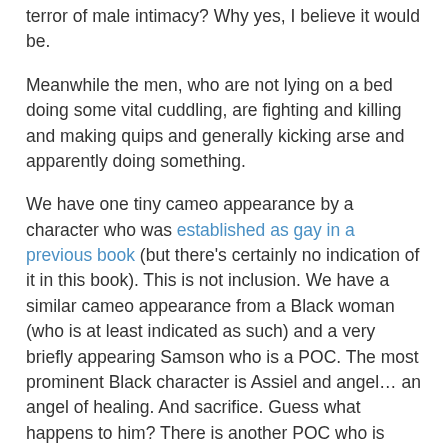terror of male intimacy? Why yes, I believe it would be.
Meanwhile the men, who are not lying on a bed doing some vital cuddling, are fighting and killing and making quips and generally kicking arse and apparently doing something.
We have one tiny cameo appearance by a character who was established as gay in a previous book (but there’s certainly no indication of it in this book). This is not inclusion. We have a similar cameo appearance from a Black woman (who is at least indicated as such) and a very briefly appearing Samson who is a POC. The most prominent Black character is Assiel and angel… an angel of healing. And sacrifice. Guess what happens to him? There is another POC who is more prominent but due to his condition is only actually revealed as dark skinned towards the end of the book.
The lack of inclusion in this series frustrates me immensely. It frustrates me more than many books – it frustrates me more because the series is so huge and contains so many characters that it is all the more glaring. And it frustrates me